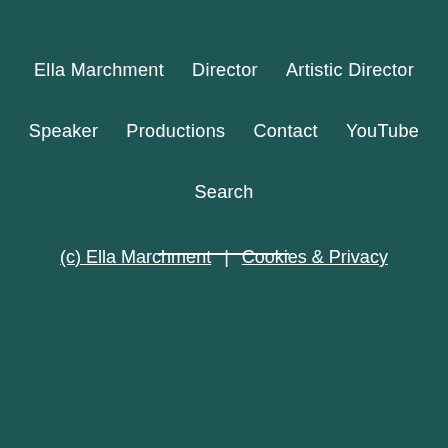Ella Marchment | Director | Artistic Director
Speaker | Productions | Contact | YouTube
Search
(c) Ella Marchment | Cookies & Privacy